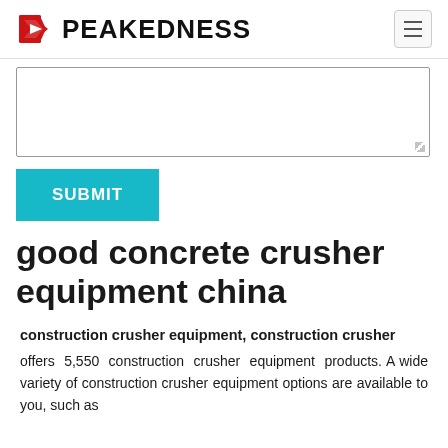PEAKEDNESS
[Figure (other): Text input textarea form field]
[Figure (other): SUBMIT button in teal/cyan color]
good concrete crusher equipment china
construction crusher equipment, construction crusher
offers 5,550 construction crusher equipment products. A wide variety of construction crusher equipment options are available to you, such as